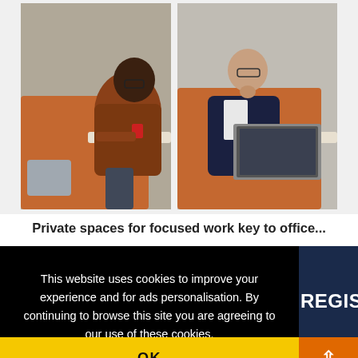[Figure (photo): Two side-by-side photos of men sitting in private office booth pods. Left: a Black man in an orange sweater seated at a small round table in an orange booth, a grey bag beside him. Right: a white man in a navy suit with glasses, working on a laptop at a small table in a similar orange booth.]
Private spaces for focused work key to office...
This website uses cookies to improve your experience and for ads personalisation. By continuing to browse this site you are agreeing to our use of these cookies.
You can learn more about the cookies we use here.
OK